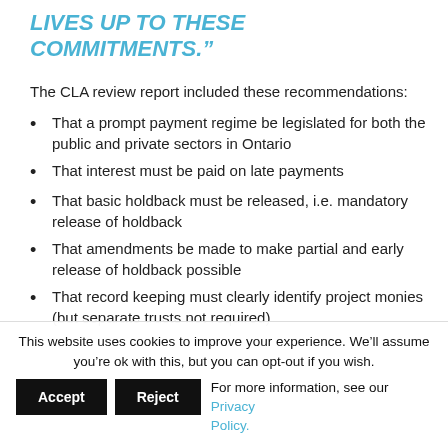LIVES UP TO THESE COMMITMENTS.”
The CLA review report included these recommendations:
That a prompt payment regime be legislated for both the public and private sectors in Ontario
That interest must be paid on late payments
That basic holdback must be released, i.e. mandatory release of holdback
That amendments be made to make partial and early release of holdback possible
That record keeping must clearly identify project monies (but separate trusts not required)
This website uses cookies to improve your experience. We’ll assume you’re ok with this, but you can opt-out if you wish. Accept Reject For more information, see our Privacy Policy.